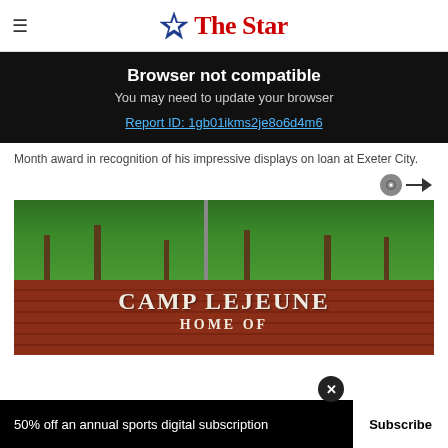The Star
Browser not compatible
You may need to update your browser
Report ID: 1gb01ikms2je8o6d4m6
Month award in recognition of his impressive displays on loan at Exeter City.
[Figure (photo): Camp Lejeune sign on brick wall with trees in background. Text reads CAMP LEJEUNE HOME OF]
50% off an annual sports digital subscription